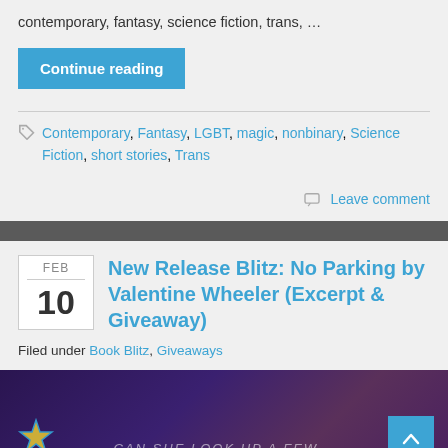contemporary, fantasy, science fiction, trans, …
Continue reading
Contemporary, Fantasy, LGBT, magic, nonbinary, Science Fiction, short stories, Trans
Leave comment
New Release Blitz: No Parking by Valentine Wheeler (Excerpt & Giveaway)
FEB 10
Filed under Book Blitz, Giveaways
[Figure (photo): Book cover or promotional image for No Parking by Valentine Wheeler, shows a colorful storefront scene at night, partially visible with star logo and text overlay 'Can she look up a few...']